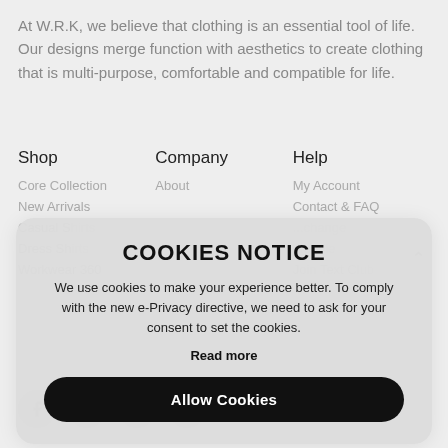At W.R.K, we believe that clothing is an essential tool of life. Our designs merge function with aesthetics to create clothing that is multi-purpose, comfortable and compatible for life.
Shop
Company
Help
Core Collection
About
My Account
New Arrivals
Contact & FAQ
Casual S...
...change
Dress Sh...
...oodie
Workwear 360
Join Text Cl...
COOKIES NOTICE
We use cookies to make your experience better. To comply with the new e-Privacy directive, we need to ask for your consent to set the cookies.
Read more
Allow Cookies
[Figure (infographic): Social media icons: Facebook, Instagram, TikTok, YouTube]